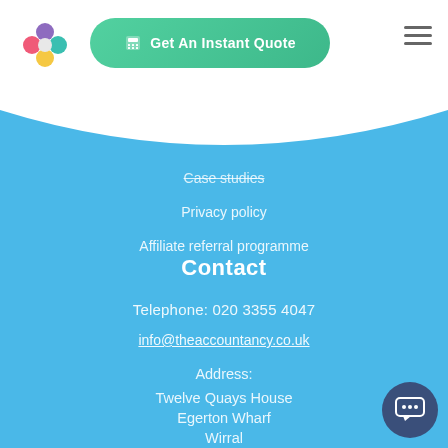[Figure (logo): Colorful plus/cross shaped icon with colored circles (pink, blue/teal, green, yellow/orange)]
Get An Instant Quote
Case studies
Privacy policy
Affiliate referral programme
Contact
Telephone: 020 3355 4047
info@theaccountancy.co.uk
Address:
Twelve Quays House
Egerton Wharf
Wirral
CH41 1LD